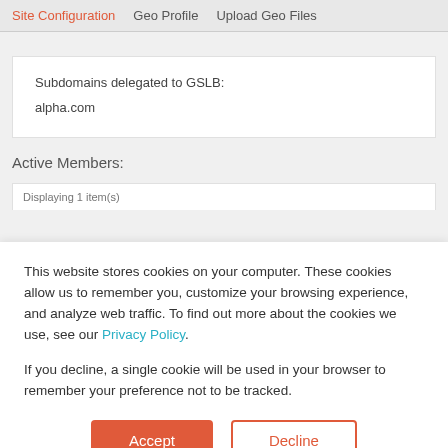Site Configuration   Geo Profile   Upload Geo Files
Subdomains delegated to GSLB:
alpha.com
Active Members:
Displaying 1 item(s)
This website stores cookies on your computer. These cookies allow us to remember you, customize your browsing experience, and analyze web traffic. To find out more about the cookies we use, see our Privacy Policy.
If you decline, a single cookie will be used in your browser to remember your preference not to be tracked.